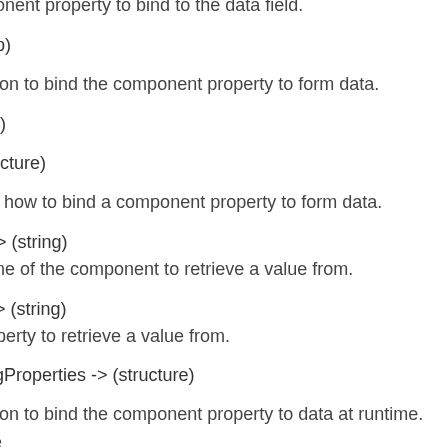mponent property to bind to the data field.
map)
nation to bind the component property to form data.
ring)
structure)
oes how to bind a component property to form data.
nt -> (string)
name of the component to retrieve a value from.
ty -> (string)
property to retrieve a value from.
dingProperties -> (structure)
nation to bind the component property to data at runtime. Use llection components.